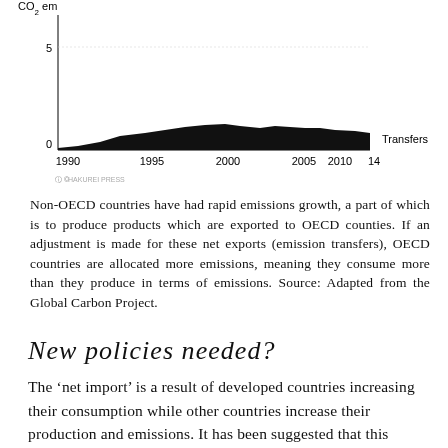[Figure (area-chart): Area chart showing CO2 emission transfers from 1990 to 2014, with a nearly flat area near 0, slight humps peaking around 2005, labeled 'Transfers' on the right]
Non-OECD countries have had rapid emissions growth, a part of which is to produce products which are exported to OECD counties. If an adjustment is made for these net exports (emission transfers), OECD countries are allocated more emissions, meaning they consume more than they produce in terms of emissions. Source: Adapted from the Global Carbon Project.
New policies needed?
The ‘net import’ is a result of developed countries increasing their consumption while other countries increase their production and emissions. It has been suggested that this reduces the effectiveness of environmental